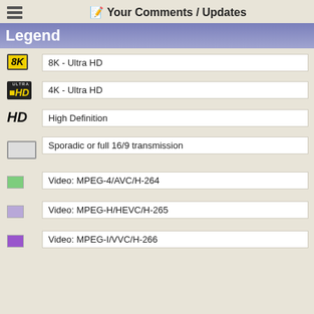📝 Your Comments / Updates
Legend
8K - Ultra HD
4K - Ultra HD
High Definition
Sporadic or full 16/9 transmission
Video: MPEG-4/AVC/H-264
Video: MPEG-H/HEVC/H-265
Video: MPEG-I/VVC/H-266